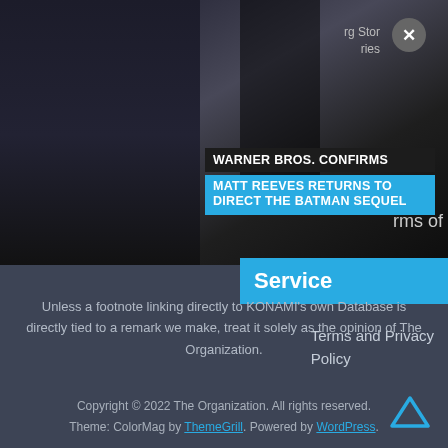[Figure (screenshot): News article image showing two people with overlay text: WARNER BROS. CONFIRMS MATT REEVES RETURNS TO DIRECT THE BATMAN SEQUEL]
rg Stories
Service
Terms and Privacy Policy
Unless a footnote linking directly to KONAMI's own Database is directly tied to a remark we make, treat it solely as the opinion of The Organization.
Copyright © 2022 The Organization. All rights reserved. Theme: ColorMag by ThemeGrill. Powered by WordPress.